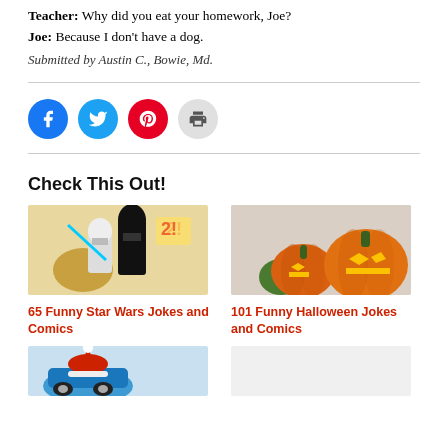Teacher: Why did you eat your homework, Joe?
Joe: Because I don't have a dog.
Submitted by Austin C., Bowie, Md.
[Figure (other): Social sharing icons: Facebook (blue), Twitter (light blue), Pinterest (red), Print (gray)]
Check This Out!
[Figure (illustration): 65 Funny Star Wars Jokes and Comics - cartoon illustration of Star Wars characters]
65 Funny Star Wars Jokes and Comics
[Figure (photo): 101 Funny Halloween Jokes and Comics - photo of carved jack-o-lantern pumpkins]
101 Funny Halloween Jokes and Comics
[Figure (photo): Bottom card image partially visible]